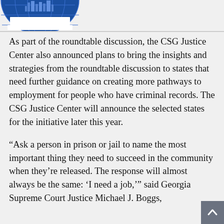[Figure (logo): CSG Justice Center logo — partial blue circular seal/globe graphic in upper left corner]
As part of the roundtable discussion, the CSG Justice Center also announced plans to bring the insights and strategies from the roundtable discussion to states that need further guidance on creating more pathways to employment for people who have criminal records. The CSG Justice Center will announce the selected states for the initiative later this year.
“Ask a person in prison or jail to name the most important thing they need to succeed in the community when they’re released. The response will almost always be the same: ‘I need a job,’” said Georgia Supreme Court Justice Michael J. Boggs,